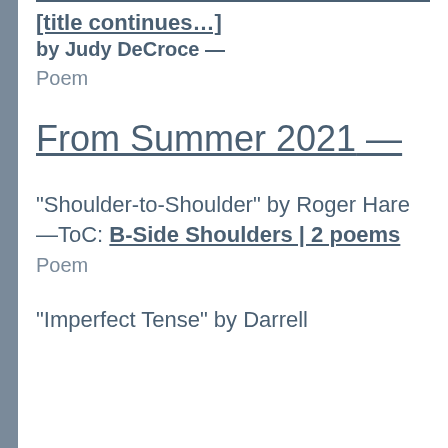by Judy DeCroce —
Poem
From Summer 2021 —
"Shoulder-to-Shoulder" by Roger Hare —ToC: B-Side Shoulders | 2 poems
Poem
"Imperfect Tense" by Darrell